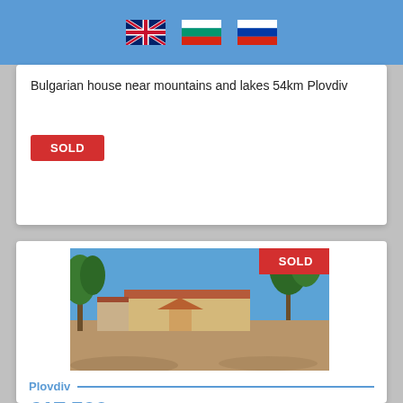[Figure (other): Page header bar with UK, Bulgarian, and Russian flags]
Bulgarian house near mountains and lakes 54km Plovdiv
SOLD
[Figure (photo): Exterior photo of a Bulgarian house with trees and a large open yard. Red SOLD banner overlaid in top-right corner.]
Plovdiv
€17,500